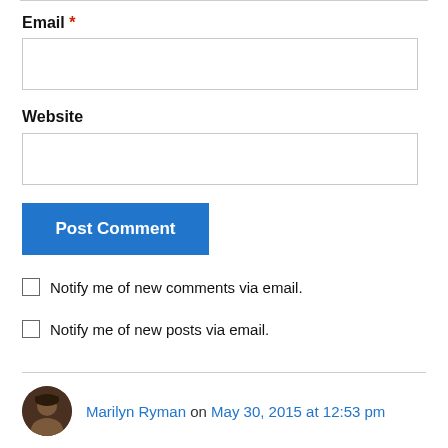Email *
[Figure (screenshot): Empty email input text field]
Website
[Figure (screenshot): Empty website input text field]
Post Comment
Notify me of new comments via email.
Notify me of new posts via email.
Marilyn Ryman on May 30, 2015 at 12:53 pm